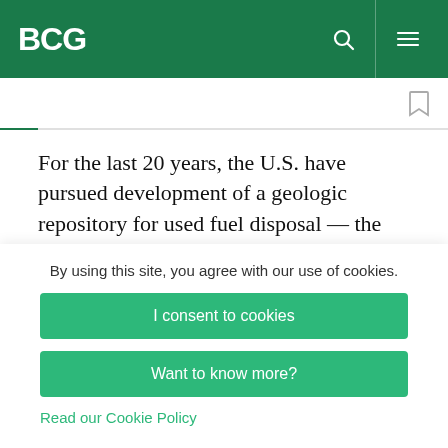BCG
For the last 20 years, the U.S. have pursued development of a geologic repository for used fuel disposal — the once-through strategy — at Yucca Mountain in Nevada. The key benefits of that strategy are: a) capacity to handle all legacy used
By using this site, you agree with our use of cookies.
I consent to cookies
Want to know more?
Read our Cookie Policy